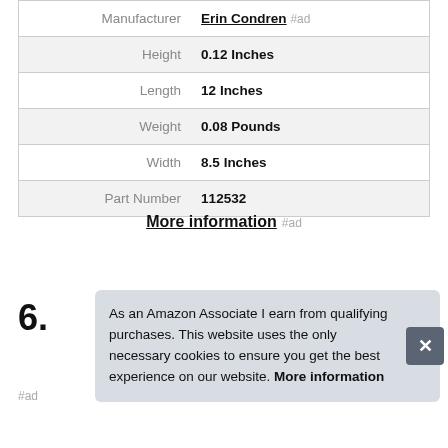| Attribute | Value |
| --- | --- |
| Manufacturer | Erin Condren #ad |
| Height | 0.12 Inches |
| Length | 12 Inches |
| Weight | 0.08 Pounds |
| Width | 8.5 Inches |
| Part Number | 112532 |
More information #ad
6.
As an Amazon Associate I earn from qualifying purchases. This website uses the only necessary cookies to ensure you get the best experience on our website. More information
#ad